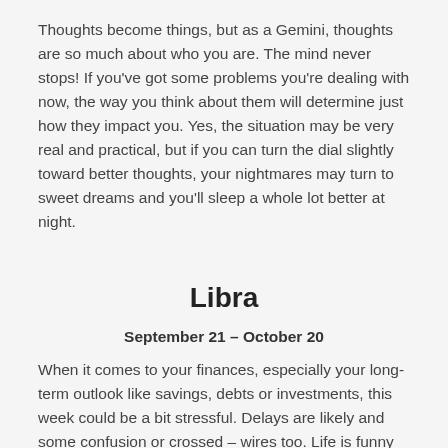Thoughts become things, but as a Gemini, thoughts are so much about who you are. The mind never stops! If you've got some problems you're dealing with now, the way you think about them will determine just how they impact you. Yes, the situation may be very real and practical, but if you can turn the dial slightly toward better thoughts, your nightmares may turn to sweet dreams and you'll sleep a whole lot better at night.
Libra
September 21 – October 20
When it comes to your finances, especially your long-term outlook like savings, debts or investments, this week could be a bit stressful. Delays are likely and some confusion or crossed – wires too. Life is funny like that, just as we are at a maximum point of stress, a breakthrough or some kind of solution arrives. Try not to